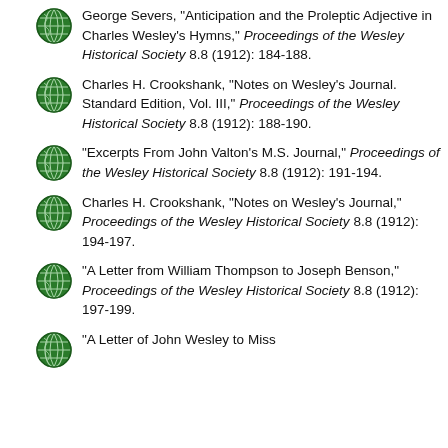George Severs, "Anticipation and the Proleptic Adjective in Charles Wesley's Hymns," Proceedings of the Wesley Historical Society 8.8 (1912): 184-188.
Charles H. Crookshank, "Notes on Wesley's Journal. Standard Edition, Vol. III," Proceedings of the Wesley Historical Society 8.8 (1912): 188-190.
"Excerpts From John Valton's M.S. Journal," Proceedings of the Wesley Historical Society 8.8 (1912): 191-194.
Charles H. Crookshank, "Notes on Wesley's Journal," Proceedings of the Wesley Historical Society 8.8 (1912): 194-197.
"A Letter from William Thompson to Joseph Benson," Proceedings of the Wesley Historical Society 8.8 (1912): 197-199.
"A Letter of John Wesley to Miss